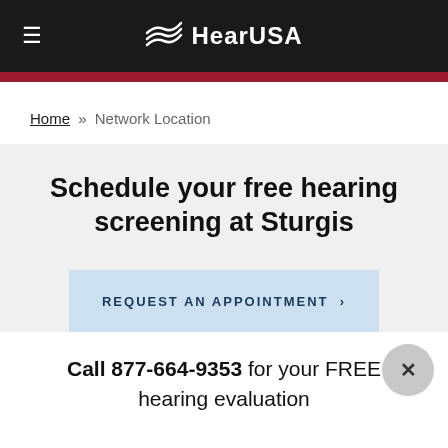HearUSA
Home » Network Location
Schedule your free hearing screening at Sturgis
REQUEST AN APPOINTMENT >
Call 877-664-9353 for your FREE hearing evaluation